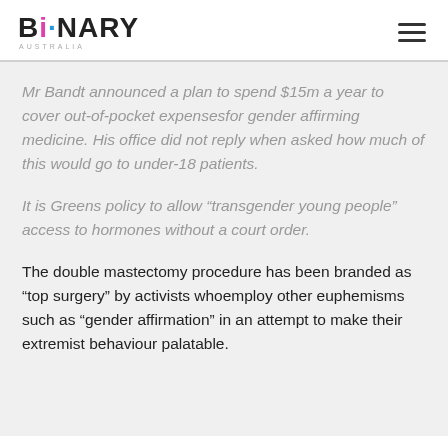BiNARY AUSTRALIA
Mr Bandt announced a plan to spend $15m a year to cover out-of-pocket expensesfor gender affirming medicine. His office did not reply when asked how much of this would go to under-18 patients.
It is Greens policy to allow “transgender young people” access to hormones without a court order.
The double mastectomy procedure has been branded as “top surgery” by activists whoemploy other euphemisms such as “gender affirmation” in an attempt to make their extremist behaviour palatable.